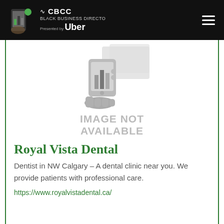CBCC BLACK BUSINESS DIRECTORY Presented by Uber
[Figure (illustration): Gray placeholder image showing a hand holding a smartphone with chart graphics, with text IMAGE NOT AVAILABLE below]
Royal Vista Dental
Dentist in NW Calgary – A dental clinic near you. We provide patients with professional care.
https://www.royalvistadental.ca/